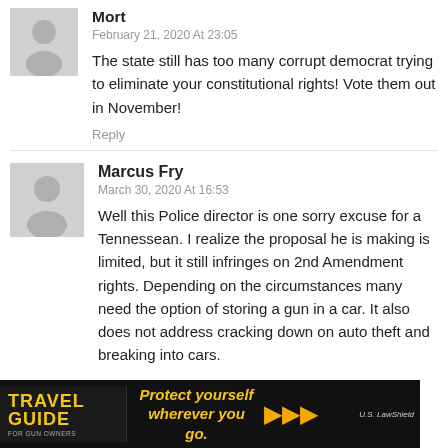Mort
February 21, 2020 At 23:05
The state still has too many corrupt democrat trying to eliminate your constitutional rights! Vote them out in November!
Reply
Marcus Fry
March 30, 2020 At 16:53
Well this Police director is one sorry excuse for a Tennessean. I realize the proposal he is making is limited, but it still infringes on 2nd Amendment rights. Depending on the circumstances many need the option of storing a gun in a car. It also does not address cracking down on auto theft and breaking into cars.
[Figure (infographic): Travel Guide For Gun Owners advertisement banner with text 'Protect yourself wherever you go.' and US LawShield branding]